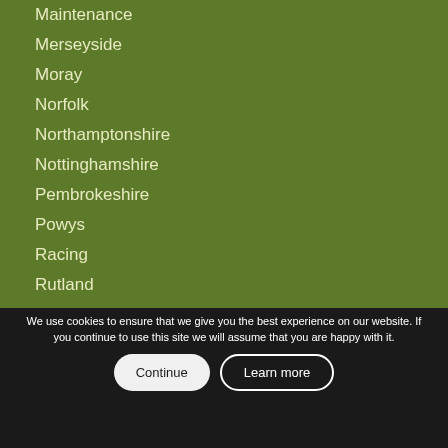Maintenance
Merseyside
Moray
Norfolk
Northamptonshire
Nottinghamshire
Pembrokeshire
Powys
Racing
Rutland
Scottish Borders
Shire of Inverness
Somerset
Staffordshire
Stirlingshire
Suffolk
Surrey
We use cookies to ensure that we give you the best experience on our website. If you continue to use this site we will assume that you are happy with it.